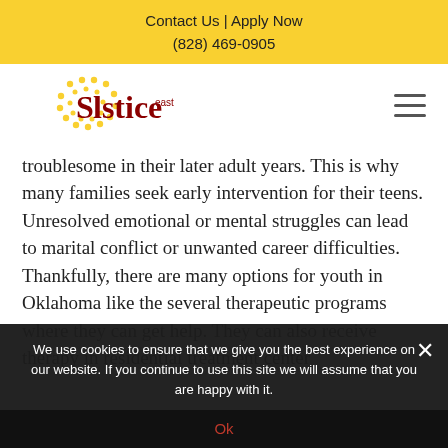Contact Us | Apply Now
(828) 469-0905
[Figure (logo): Solstice East logo with sun and crescent moon graphic]
troublesome in their later adult years. This is why many families seek early intervention for their teens. Unresolved emotional or mental struggles can lead to marital conflict or unwanted career difficulties. Thankfully, there are many options for youth in Oklahoma like the several therapeutic programs where they can get help. They can also receive therapy in residential treatment center
We use cookies to ensure that we give you the best experience on our website. If you continue to use this site we will assume that you are happy with it.